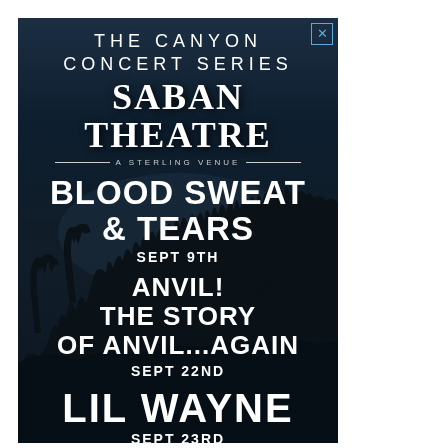[Figure (illustration): Concert advertisement for The Canyon Concert Series at Saban Theatre featuring Blood Sweat & Tears (Sept 9th), Anvil! The Story of Anvil...Again (Sept 22nd), Lil Wayne (Sept 23rd), and Kenny Wayne (partially visible). Dark background with crowd silhouette.]
THE CANYON CONCERT SERIES
SABAN THEATRE
A STERLING VENUE
BLOOD SWEAT & TEARS
SEPT 9TH
ANVIL! THE STORY OF ANVIL...AGAIN
SEPT 22ND
LIL WAYNE
SEPT 23RD
KENNY WAYNE